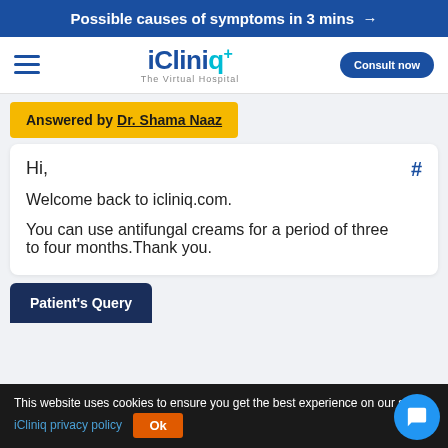Possible causes of symptoms in 3 mins →
[Figure (logo): iCliniq+ The Virtual Hospital logo with hamburger menu and Consult now button]
Answered by Dr. Shama Naaz
Hi,

Welcome back to icliniq.com.

You can use antifungal creams for a period of three to four months.Thank you.
Patient's Query
This website uses cookies to ensure you get the best experience on our site. iCliniq privacy policy  Ok